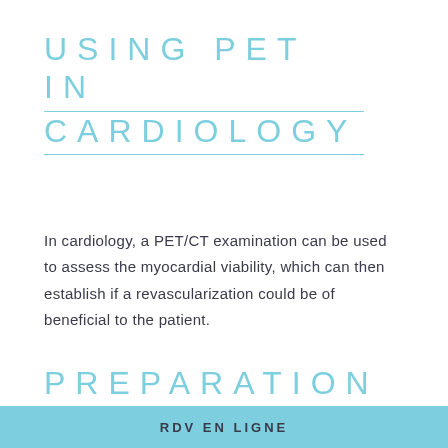USING PET IN CARDIOLOGY
In cardiology, a PET/CT examination can be used to assess the myocardial viability, which can then establish if a revascularization could be of beneficial to the patient.
PREPARATION
RDV EN LIGNE